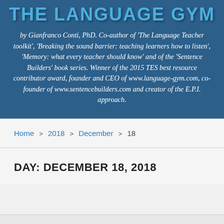THE LANGUAGE GYM
by Gianfranco Conti, PhD. Co-author of 'The Language Teacher toolkit', 'Breaking the sound barrier: teaching learners how to listen', 'Memory: what every teacher should know' and of the 'Sentence Builders' book series. Winner of the 2015 TES best resource contributor award, founder and CEO of www.language-gym.com, co-founder of www.sentencebuilders.com and creator of the E.P.I. approach.
Home > 2018 > December > 18
DAY: DECEMBER 18, 2018